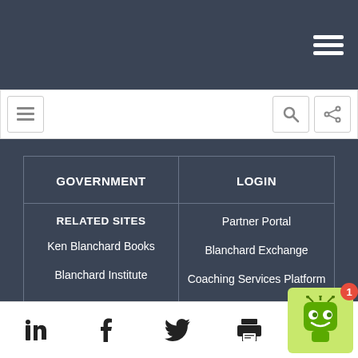Top navigation bar with hamburger menu icon
[Figure (screenshot): White navigation bar with hamburger/menu icon on left, search icon and share icon on right]
GOVERNMENT
LOGIN
RELATED SITES
Partner Portal
Ken Blanchard Books
Blanchard Exchange
Blanchard Institute
Coaching Services Platform
Social media and utility icons: LinkedIn, Facebook, Twitter, Print, Email